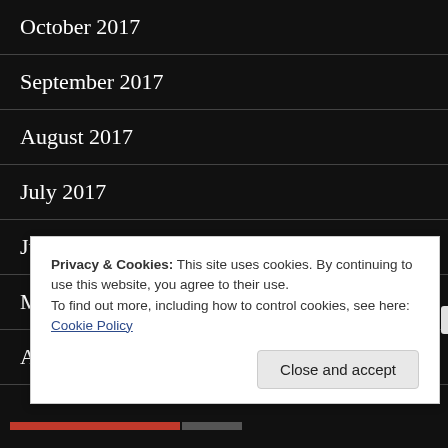October 2017
September 2017
August 2017
July 2017
June 2017
May 2017
April 2017
March 2017
Privacy & Cookies: This site uses cookies. By continuing to use this website, you agree to their use.
To find out more, including how to control cookies, see here:
Cookie Policy
Close and accept